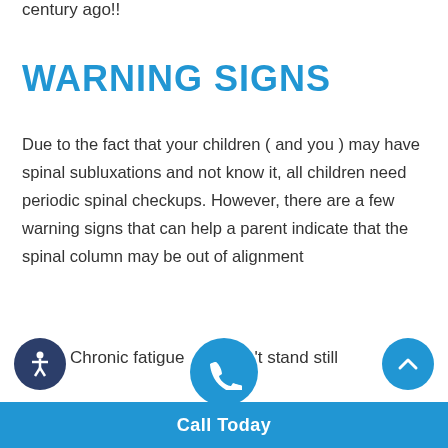century ago!!
WARNING SIGNS
Due to the fact that your children ( and you ) may have spinal subluxations and not know it, all children need periodic spinal checkups. However, there are a few warning signs that can help a parent indicate that the spinal column may be out of alignment
Chronic fatigue
't stand still
Call Today